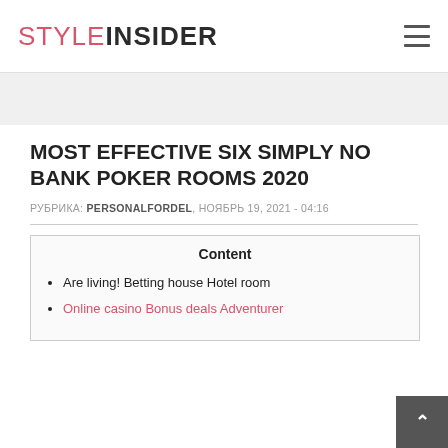STYLE INSIDER
MOST EFFECTIVE SIX SIMPLY NO BANK POKER ROOMS 2020
РУБРИКА: PERSONALFORDEL, НОЯБРЬ 19, 2021 - 04:16
Content
Are living! Betting house Hotel room
Online casino Bonus deals Adventurer